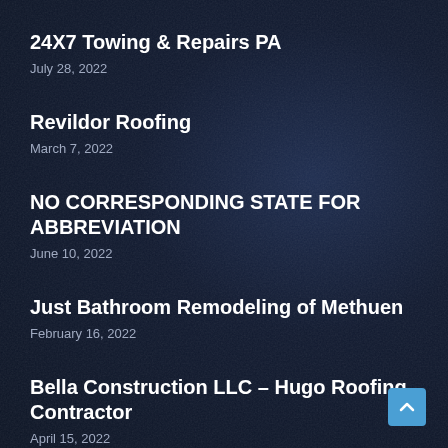24X7 Towing & Repairs PA
July 28, 2022
Revildor Roofing
March 7, 2022
NO CORRESPONDING STATE FOR ABBREVIATION
June 10, 2022
Just Bathroom Remodeling of Methuen
February 16, 2022
Bella Construction LLC – Hugo Roofing Contractor
April 15, 2022